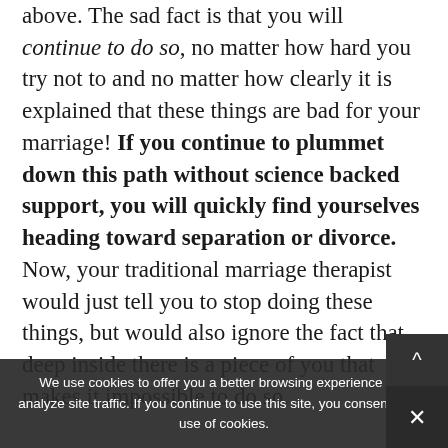above. The sad fact is that you will continue to do so, no matter how hard you try not to and no matter how clearly it is explained that these things are bad for your marriage! If you continue to plummet down this path without science backed support, you will quickly find yourselves heading toward separation or divorce. Now, your traditional marriage therapist would just tell you to stop doing these things, but would also ignore the fact that deep inside there is a piece of you that makes it impossible to do so. Worse than that, traditional marriage therapists rarely teach you how to do what works in a way that actually sticks.
We use cookies to offer you a better browsing experience and analyze site traffic. If you continue to use this site, you consent to our use of cookies.